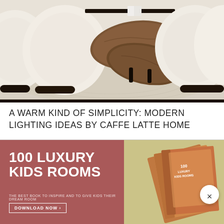[Figure (photo): Interior design photo showing cream/ivory rounded armchairs arranged around a dark marble coffee table set on a textured neutral rug]
A WARM KIND OF SIMPLICITY: MODERN LIGHTING IDEAS BY CAFFE LATTE HOME
[Figure (infographic): Advertisement banner for '100 Luxury Kids Rooms' book with dark rose/mauve background, bold white text, and book cover image on right side with yellow-green background. Includes subtitle 'THE BEST BOOK TO INSPIRE AND TO GIVE KIDS THEIR DREAM ROOM' and 'DOWNLOAD NOW >' button. Close button (×) in top-right corner.]